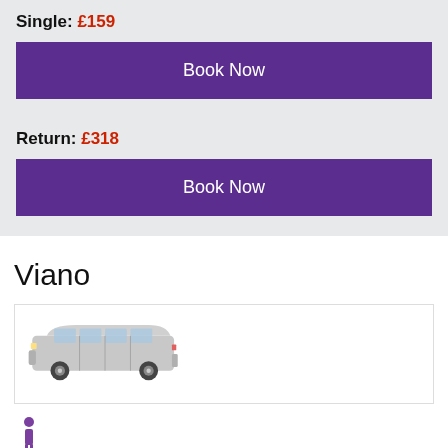Single: £159
Book Now
Return: £318
Book Now
Viano
[Figure (photo): Side view of a silver Mercedes Viano minivan]
[Figure (illustration): Purple person icon]